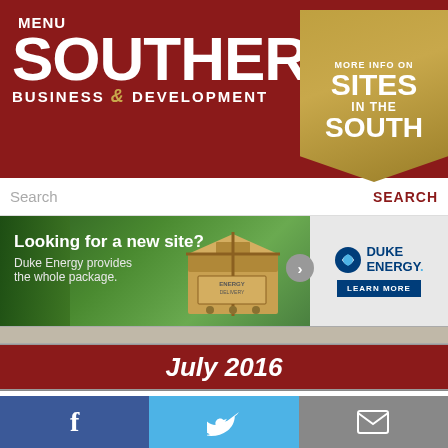MENU
SOUTHERN BUSINESS & DEVELOPMENT
[Figure (infographic): MORE INFO ON SITES IN THE SOUTH gold banner in upper right of header]
[Figure (infographic): Search bar with SEARCH button in red]
[Figure (screenshot): Duke Energy advertisement: Looking for a new site? Duke Energy provides the whole package. Shows cardboard box on green aerial background with Duke Energy logo and Learn More button.]
July 2016
2015: Record year for foreign direct investment
After a poor 2014 with only $171.6 billion invested directly by foreign companies in the U.S., 2015 was a record year. In 2015, the U.S. saw more than $368 billion in FDI, by far the largest ever. Most of the investment came from Europe, however there is a growing trend with China. Just 10 years ago Chinese investment in the U.S. was a mere $200 million. Last
Facebook | Twitter | Mail